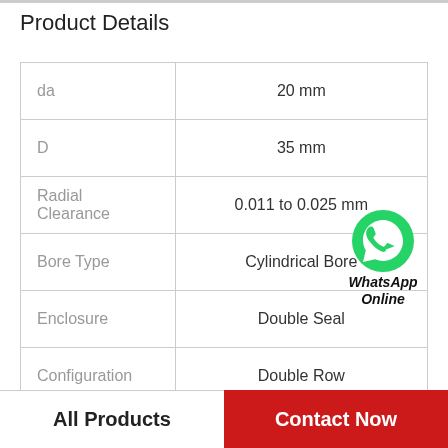Product Details
| Property | Value |
| --- | --- |
| da | 20 mm |
| D | 35 mm |
| Radial Clearance | 0.011 to 0.025 mm |
| Bore Type | Cylindrical Bore |
| Enclosure | Double Seal |
| Configuration | Double Row |
| Weight | 0.070 kg |
All Products
Contact Now